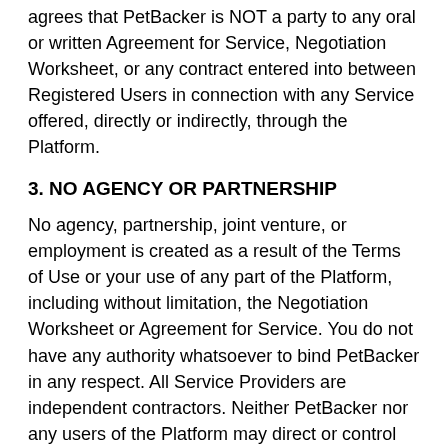agrees that PetBacker is NOT a party to any oral or written Agreement for Service, Negotiation Worksheet, or any contract entered into between Registered Users in connection with any Service offered, directly or indirectly, through the Platform.
3. NO AGENCY OR PARTNERSHIP
No agency, partnership, joint venture, or employment is created as a result of the Terms of Use or your use of any part of the Platform, including without limitation, the Negotiation Worksheet or Agreement for Service. You do not have any authority whatsoever to bind PetBacker in any respect. All Service Providers are independent contractors. Neither PetBacker nor any users of the Platform may direct or control the day-to-day activities of the other, or create or assume any obligation on behalf of the other.
4. DISPUTES BETWEEN REGISTERED USERS
Subject to the provisions regarding disputes between Platform participants in connection with Enrolled...